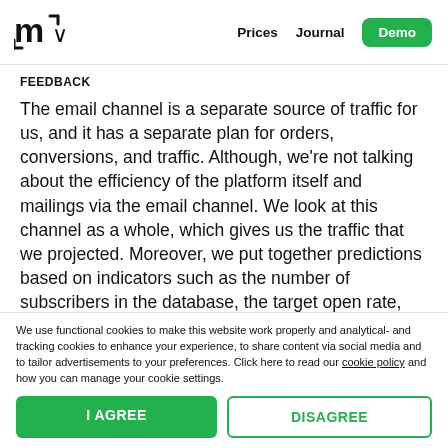m∨   Prices   Journal   Demo
FEEDBACK
The email channel is a separate source of traffic for us, and it has a separate plan for orders, conversions, and traffic. Although, we're not talking about the efficiency of the platform itself and mailings via the email channel. We look at this channel as a whole, which gives us the traffic that we projected. Moreover, we put together predictions based on indicators such as the number of subscribers in the database, the target open rate, and historical
We use functional cookies to make this website work properly and analytical- and tracking cookies to enhance your experience, to share content via social media and to tailor advertisements to your preferences. Click here to read our cookie policy and how you can manage your cookie settings.
I AGREE   DISAGREE